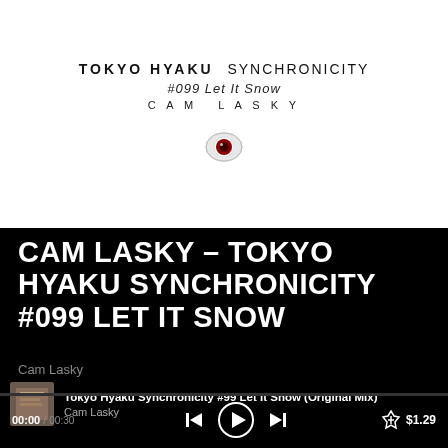[Figure (illustration): Album art for Tokyo Hyaku Synchronicity #099 Let It Snow by Cam Lasky. White background with bold text showing TOKYO HYAKU SYNCHRONICITY, subtitle #099 Let It Snow, artist CAM LASKY, and a red eye icon/logo at the bottom.]
CAM LASKY – TOKYO HYAKU SYNCHRONICITY #099 LET IT SNOW
Cam Lasky
[Figure (screenshot): Music player track row showing album thumbnail, track title Tokyo Hyaku Synchronicity #99 Let It Snow (Original Mix), artist Cam Lasky]
Tokyo Hyaku Synchronicity #99 Let It Snow (Original Mix)
Cam Lasky
00:00 / 00:30   |<  (play)  >|   [cart] $1.29